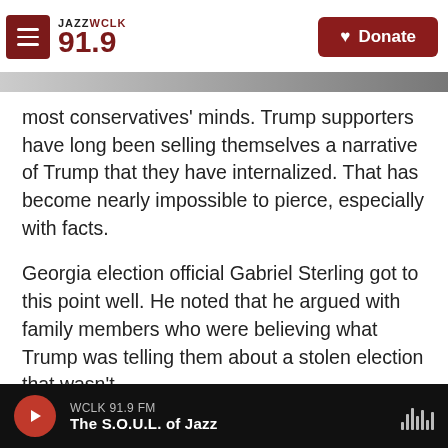JAZZ WCLK 91.9 | Donate
[Figure (photo): Partial background image strip visible behind header]
most conservatives' minds. Trump supporters have long been selling themselves a narrative of Trump that they have internalized. That has become nearly impossible to pierce, especially with facts.
Georgia election official Gabriel Sterling got to this point well. He noted that he argued with family members who were believing what Trump was telling them about a stolen election that wasn't.
"The problem you have is you're getting into people's hearts," Sterling said.
WCLK 91.9 FM — The S.O.U.L. of Jazz